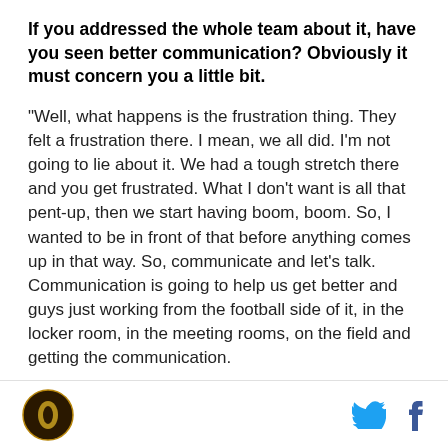If you addressed the whole team about it, have you seen better communication? Obviously it must concern you a little bit.
"Well, what happens is the frustration thing. They felt a frustration there. I mean, we all did. I'm not going to lie about it. We had a tough stretch there and you get frustrated. What I don't want is all that pent-up, then we start having boom, boom. So, I wanted to be in front of that before anything comes up in that way. So, communicate and let's talk. Communication is going to help us get better and guys just working from the football side of it, in the locker room, in the meeting rooms, on the field and getting the communication.
[logo] [twitter] [facebook]